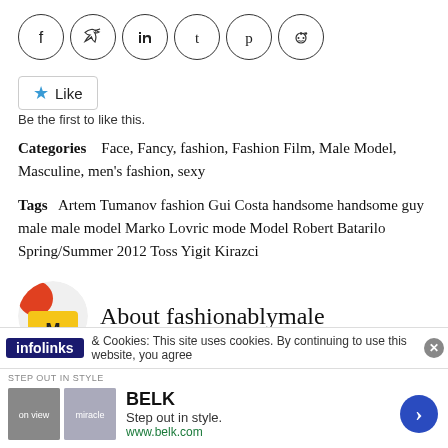[Figure (other): Row of six social media share buttons (Facebook, Twitter, LinkedIn, Tumblr, Pinterest, Reddit) as circular icon buttons with outlines]
[Figure (other): Like button with blue star icon and text 'Like']
Be the first to like this.
Categories    Face, Fancy, fashion, Fashion Film, Male Model, Masculine, men's fashion, sexy
Tags   Artem Tumanov fashion Gui Costa handsome handsome guy male male model Marko Lovric mode Model Robert Batarilo Spring/Summer 2012 Toss Yigit Kirazci
About fashionablymale
infolinks  & Cookies: This site uses cookies. By continuing to use this website, you agree
[Figure (other): BELK advertisement banner: Step out in style. www.belk.com]